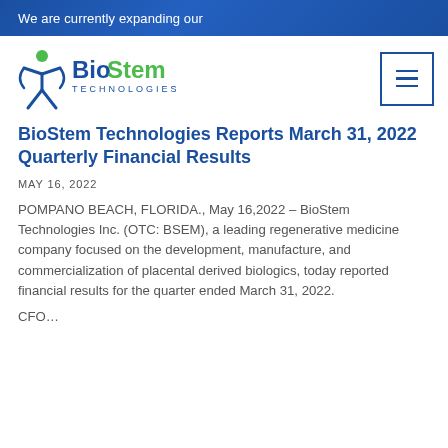We are currently expanding our
[Figure (logo): BioStem Technologies logo with figure and green/blue text]
BioStem Technologies Reports March 31, 2022 Quarterly Financial Results
MAY 16, 2022
POMPANO BEACH, FLORIDA., May 16,2022 – BioStem Technologies Inc. (OTC: BSEM), a leading regenerative medicine company focused on the development, manufacture, and commercialization of placental derived biologics, today reported financial results for the quarter ended March 31, 2022.